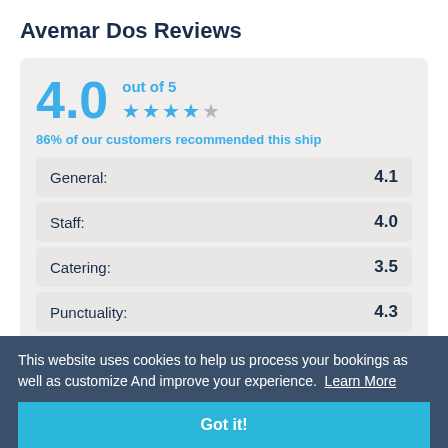Avemar Dos Reviews
4.0 out of 5 ★★★★☆
86% of our customers recommended this ship
| Category | Score |
| --- | --- |
| General: | 4.1 |
| Staff: | 4.0 |
| Catering: | 3.5 |
| Punctuality: | 4.3 |
| Cleanliness: | 4.2 |
This website uses cookies to help us process your bookings as well as customize And improve your experience.  Learn More
Got it!